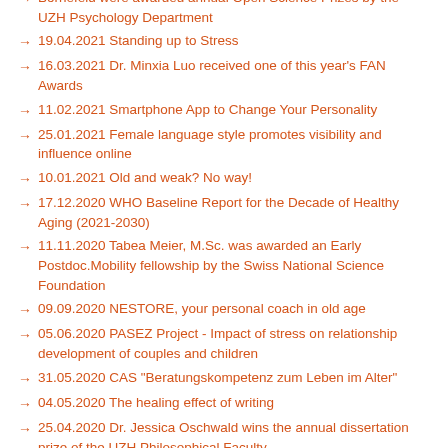Bornefeld were awarded annual Open Science Prizes by the UZH Psychology Department
19.04.2021 Standing up to Stress
16.03.2021 Dr. Minxia Luo received one of this year's FAN Awards
11.02.2021 Smartphone App to Change Your Personality
25.01.2021 Female language style promotes visibility and influence online
10.01.2021 Old and weak? No way!
17.12.2020 WHO Baseline Report for the Decade of Healthy Aging (2021-2030)
11.11.2020 Tabea Meier, M.Sc. was awarded an Early Postdoc.Mobility fellowship by the Swiss National Science Foundation
09.09.2020 NESTORE, your personal coach in old age
05.06.2020 PASEZ Project - Impact of stress on relationship development of couples and children
31.05.2020 CAS "Beratungskompetenz zum Leben im Alter"
04.05.2020 The healing effect of writing
25.04.2020 Dr. Jessica Oschwald wins the annual dissertation prize of the UZH Philosophical Faculty
15.04.2020 From boot camp to start-up
11.04.2020 Online dating flourishes during shutdown
06.04.2020 OldSchool. A distance learning platform for 65+